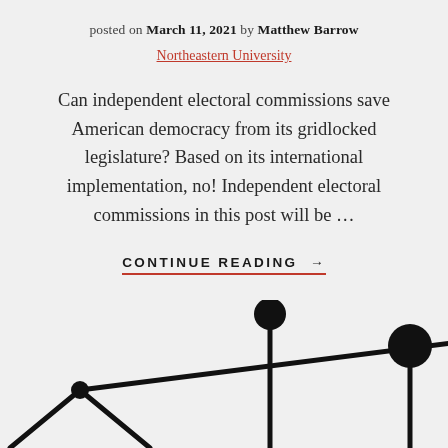posted on March 11, 2021 by Matthew Barrow
Northeastern University
Can independent electoral commissions save American democracy from its gridlocked legislature? Based on its international implementation, no! Independent electoral commissions in this post will be …
CONTINUE READING →
[Figure (illustration): Partial illustration of a balance scale (scales of justice) with two arms and a pivot, rendered in black line art on a light grey background. Only the upper portion of the scale is visible.]